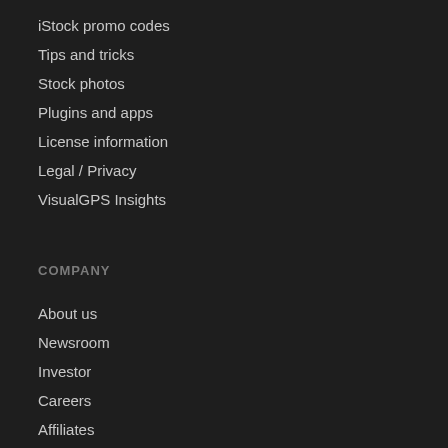iStock promo codes
Tips and tricks
Stock photos
Plugins and apps
License information
Legal / Privacy
VisualGPS Insights
COMPANY
About us
Newsroom
Investor
Careers
Affiliates
Sell stock
SUPPORT